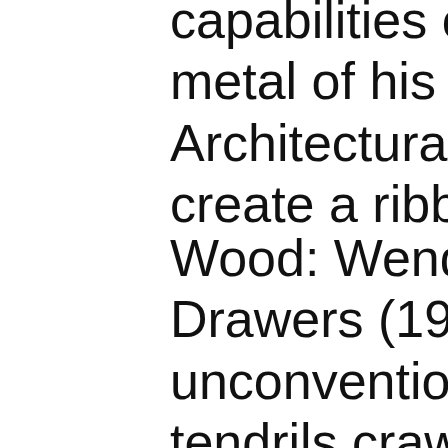capabilities of steel, metal of his works s Architectural Coil M create a ribboning e
Wood: Wendell Cas Drawers (1962) is a unconventional cab tendrils crawling up